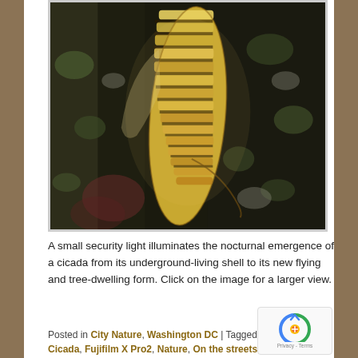[Figure (photo): Close-up macro photograph of a cicada emerging from its shell on tree bark, illuminated by a small security light at night. The cicada's abdomen shows yellow and cream banded segments. Background is dark with lichen-covered bark.]
A small security light illuminates the nocturnal emergence of a cicada from its underground-living shell to its new flying and tree-dwelling form. Click on the image for a larger view.
Posted in City Nature, Washington DC | Tagged Brood X, Cicada, Fujifilm X Pro2, Nature, On the streets, Wildlife, William Ash